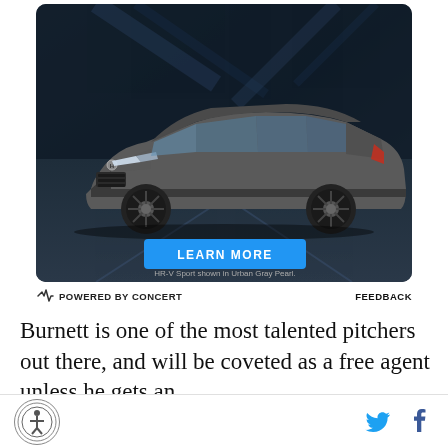[Figure (photo): Honda HR-V Sport SUV advertisement showing a gray HR-V Sport driving on a dark road with a blue LEARN MORE button and caption 'HR-V Sport shown in Urban Gray Pearl.']
POWERED BY CONCERT    FEEDBACK
Burnett is one of the most talented pitchers out there, and will be coveted as a free agent unless he gets an
[Figure (logo): SB Nation / site logo circle at bottom left, and Twitter and Facebook icons at bottom right]